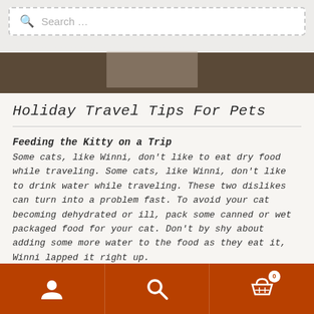Search …
[Figure (illustration): Dark brown decorative banner with zigzag top edge and a translucent rectangle in the center]
Holiday Travel Tips For Pets
Feeding the Kitty on a Trip
Some cats, like Winni, don't like to eat dry food while traveling. Some cats, like Winni, don't like to drink water while traveling. These two dislikes can turn into a problem fast. To avoid your cat becoming dehydrated or ill, pack some canned or wet packaged food for your cat. Don't by shy about adding some more water to the food as they eat it, Winni lapped it right up.
Feeding the Dog on a Trip
Our guys never lost their appetite on trips, far from it. The excitement and fun
Navigation bar with user icon, search icon, and cart icon